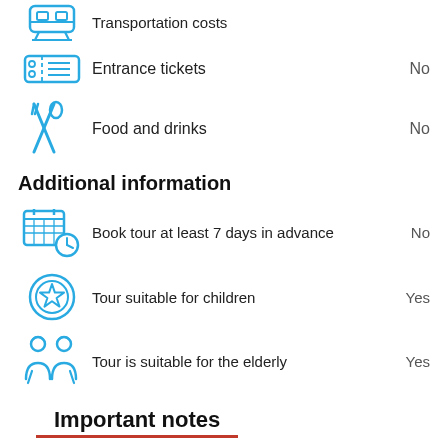Transportation costs
Entrance tickets — No
Food and drinks — No
Additional information
Book tour at least 7 days in advance — No
Tour suitable for children — Yes
Tour is suitable for the elderly — Yes
Important notes
Total walking route is 3 km from Gur Emir to Shahi Zinda complex with sightseeing stops. ///// Included: -Professional guide (en, es, fr, de, it, ar, jp, kr, ru, tr). -All Fees and Taxes. ///// Not Included: -